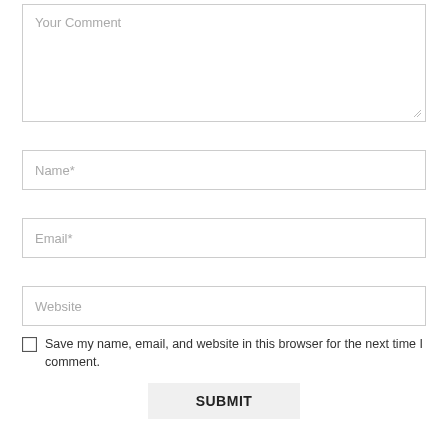Your Comment
Name*
Email*
Website
Save my name, email, and website in this browser for the next time I comment.
SUBMIT